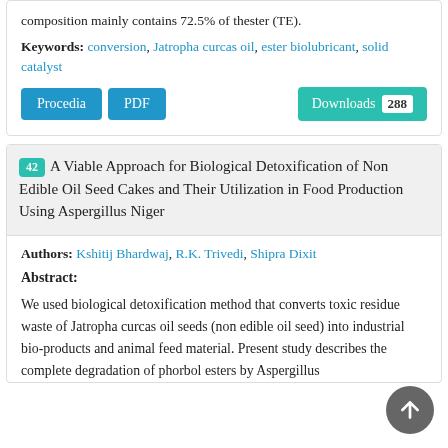composition mainly contains 72.5% of thester (TE).
Keywords: conversion, Jatropha curcas oil, ester biolubricant, solid catalyst
Procedia | PDF | Downloads 288
42 A Viable Approach for Biological Detoxification of Non Edible Oil Seed Cakes and Their Utilization in Food Production Using Aspergillus Niger
Authors: Kshitij Bhardwaj, R.K. Trivedi, Shipra Dixit
Abstract:
We used biological detoxification method that converts toxic residue waste of Jatropha curcas oil seeds (non edible oil seed) into industrial bio-products and animal feed material. Present study describes the complete degradation of phorbol esters by Aspergillus